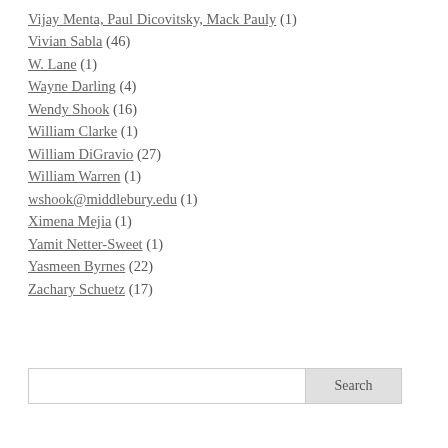Vijay Menta, Paul Dicovitsky, Mack Pauly (1)
Vivian Sabla (46)
W. Lane (1)
Wayne Darling (4)
Wendy Shook (16)
William Clarke (1)
William DiGravio (27)
William Warren (1)
wshook@middlebury.edu (1)
Ximena Mejia (1)
Yamit Netter-Sweet (1)
Yasmeen Byrnes (22)
Zachary Schuetz (17)